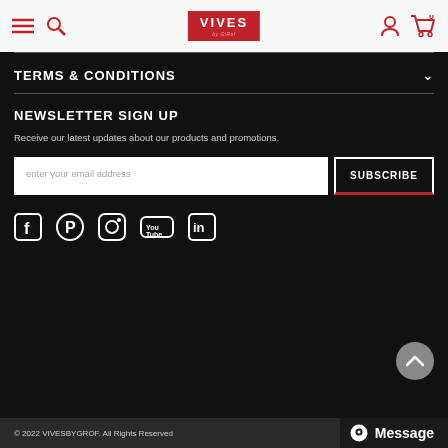[Figure (screenshot): VIVES by GiRof website navigation bar with hamburger menu, search icon, logo, user icon, and cart icon showing 0 items]
TERMS & CONDITIONS
NEWSLETTER SIGN UP
Receive our latest updates about our products and promotions.
enter your email address
SUBSCRIBE
[Figure (other): Social media icons: Facebook, Pinterest, Instagram, YouTube, LinkedIn]
© 2022 VIVESBYGROF. All Rights Reserved
Message